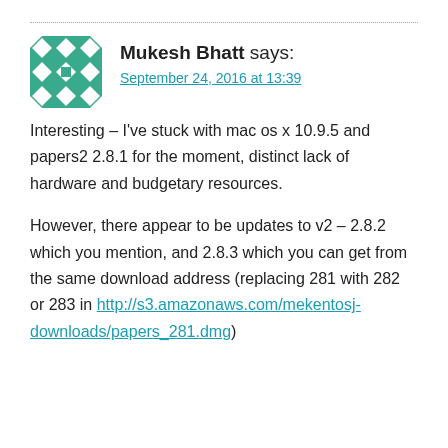[Figure (illustration): Geometric teal/green avatar icon with diamond and square pattern]
Mukesh Bhatt says:
September 24, 2016 at 13:39
Interesting – I've stuck with mac os x 10.9.5 and papers2 2.8.1 for the moment, distinct lack of hardware and budgetary resources.
However, there appear to be updates to v2 – 2.8.2 which you mention, and 2.8.3 which you can get from the same download address (replacing 281 with 282 or 283 in http://s3.amazonaws.com/mekentosj-downloads/papers_281.dmg)